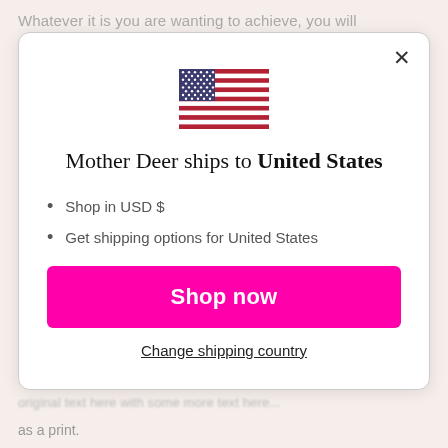Whatever it is you are wanting to achieve, you will
[Figure (screenshot): Modal dialog showing US flag, heading 'Mother Deer ships to United States', bullet points about USD shopping and shipping options, a pink 'Shop now' button, and a 'Change shipping country' link with a close X button.]
Mother Deer ships to United States
Shop in USD $
Get shipping options for United States
Shop now
Change shipping country
as a print.